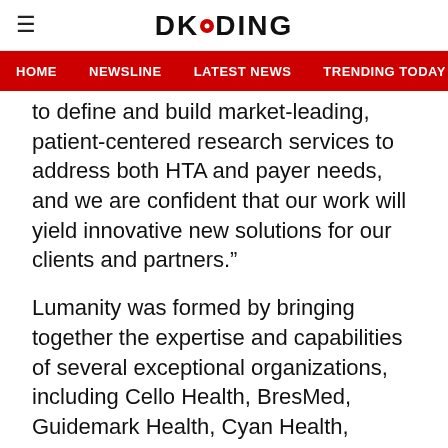DKODING
HOME  NEWSLINE  LATEST NEWS  TRENDING TODAY  ENT
to define and build market-leading, patient-centered research services to address both HTA and payer needs, and we are confident that our work will yield innovative new solutions for our clients and partners.”
Lumanity was formed by bringing together the expertise and capabilities of several exceptional organizations, including Cello Health, BresMed, Guidemark Health, Cyan Health, Zipher Medical Affairs, and Innovative Edge. The addition of Endpoint Outcomes further enhances Lumanity’s unique and diverse collection of deeply experienced